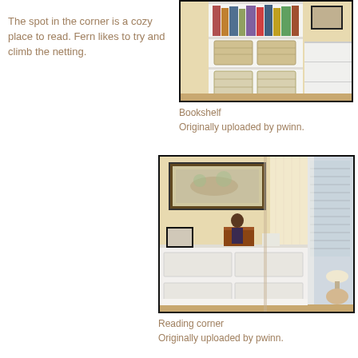The spot in the corner is a cozy place to read. Fern likes to try and climb the netting.
[Figure (photo): A white bookshelf with books, magazines, and wicker storage baskets in a yellow-walled room.]
Bookshelf
Originally uploaded by pwinn.
[Figure (photo): A reading corner in a child's room with a white dresser, sheer curtain netting, framed artwork on a yellow wall, and a framed photo on the dresser.]
Reading corner
Originally uploaded by pwinn.